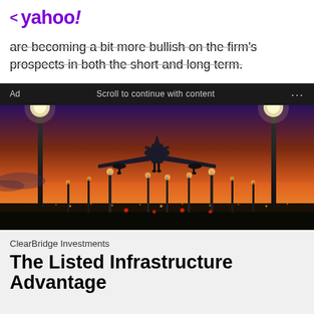< yahoo!
are becoming a bit more bullish on the firm's prospects in both the short and long term.
Ad   Scroll to continue with content   ...
[Figure (photo): Airplane landing at an airport at dusk/sunset, viewed from behind on runway with runway lights and lamp posts silhouetted against an orange and purple sky.]
ClearBridge Investments
The Listed Infrastructure Advantage